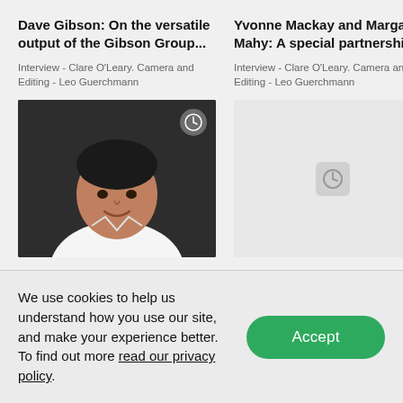Dave Gibson: On the versatile output of the Gibson Group...
Interview - Clare O'Leary. Camera and Editing - Leo Guerchmann
[Figure (photo): Portrait photo of a man in a white shirt against a dark background, with a clock icon overlay in the top right corner]
Yvonne Mackay and Margaret Mahy: A special partnership...
Interview - Clare O'Leary. Camera and Editing - Leo Guerchmann
[Figure (photo): Placeholder image thumbnail with clock icon, light grey background]
We use cookies to help us understand how you use our site, and make your experience better. To find out more read our privacy policy.